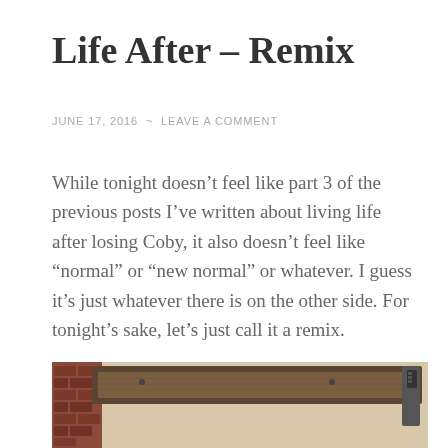Life After – Remix
JUNE 17, 2016  ~  LEAVE A COMMENT
While tonight doesn't feel like part 3 of the previous posts I've written about living life after losing Coby, it also doesn't feel like "normal" or "new normal" or whatever. I guess it's just whatever there is on the other side. For tonight's sake, let's just call it a remix.
[Figure (photo): A wooden shelf mounted on a beige wall with brick visible on the left side, photographed from below looking up.]